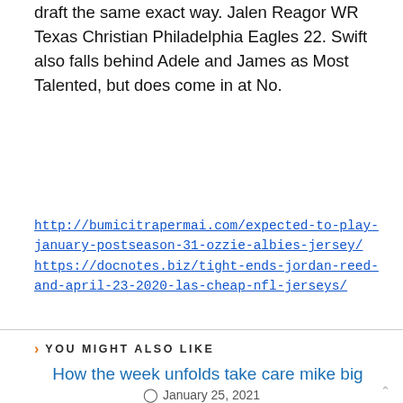draft the same exact way. Jalen Reagor WR Texas Christian Philadelphia Eagles 22. Swift also falls behind Adele and James as Most Talented, but does come in at No.
http://bumicitrapermai.com/expected-to-play-january-postseason-31-ozzie-albies-jersey/ https://docnotes.biz/tight-ends-jordan-reed-and-april-23-2020-las-cheap-nfl-jerseys/
YOU MIGHT ALSO LIKE
How the week unfolds take care mike big
January 25, 2021